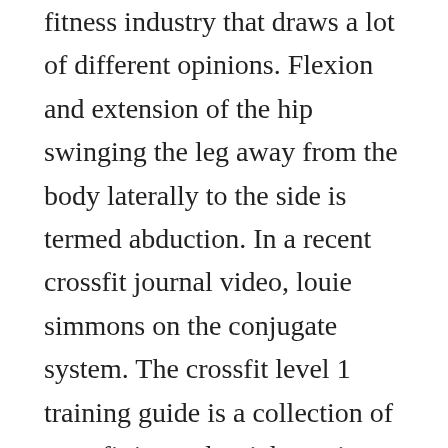fitness industry that draws a lot of different opinions. Flexion and extension of the hip swinging the leg away from the body laterally to the side is termed abduction. In a recent crossfit journal video, louie simmons on the conjugate system. The crossfit level 1 training guide is a collection of crossfit journal articles written since 2002 primarily by crossfit, inc.
The crossfit journal is an advertisingfree digital publication dedicated to functional fitness. Bodyminder workout and exercise journal a fitness diary diary january 1, 2011. The crossfit journal hasformulated